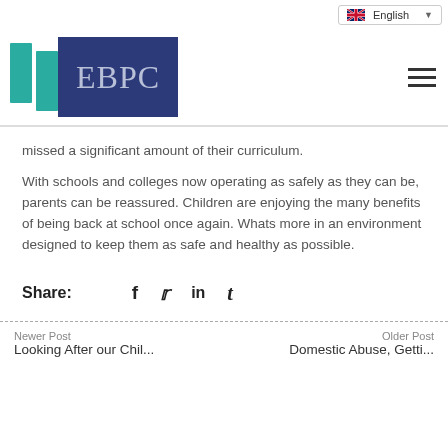English (language selector)
[Figure (logo): EBPC logo with two teal pillars on the left and dark blue rectangle with 'EBPC' text on the right]
missed a significant amount of their curriculum.
With schools and colleges now operating as safely as they can be, parents can be reassured. Children are enjoying the many benefits of being back at school once again. Whats more in an environment designed to keep them as safe and healthy as possible.
Share:
Newer Post / Looking After our Chil... | Older Post / Domestic Abuse, Getti...